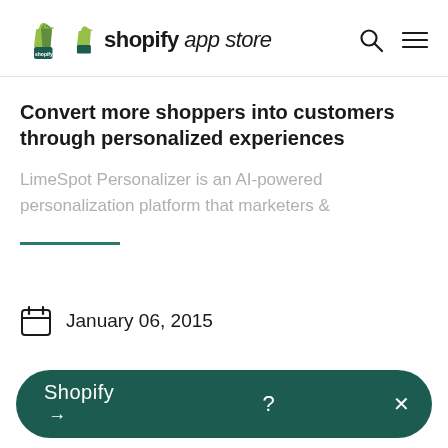shopify app store
Convert more shoppers into customers through personalized experiences
LimeSpot Personalizer is an AI-powered personalization platform that marketers &
January 06, 2015
:
Shopify ? →  ×